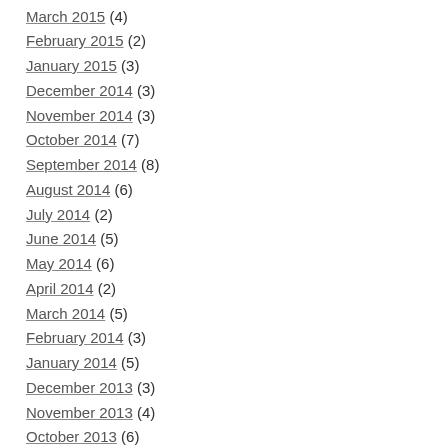March 2015 (4)
February 2015 (2)
January 2015 (3)
December 2014 (3)
November 2014 (3)
October 2014 (7)
September 2014 (8)
August 2014 (6)
July 2014 (2)
June 2014 (5)
May 2014 (6)
April 2014 (2)
March 2014 (5)
February 2014 (3)
January 2014 (5)
December 2013 (3)
November 2013 (4)
October 2013 (6)
September 2013 (3)